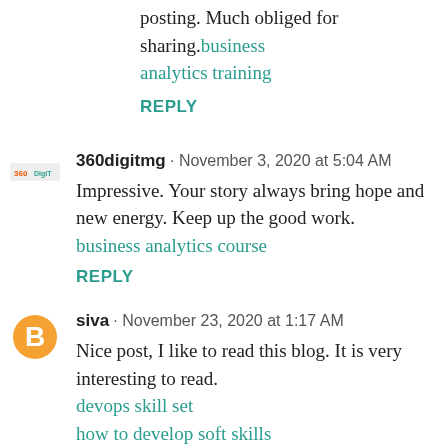posting. Much obliged for sharing. business analytics training
REPLY
360digitmg · November 3, 2020 at 5:04 AM
Impressive. Your story always bring hope and new energy. Keep up the good work. business analytics course
REPLY
siva · November 23, 2020 at 1:17 AM
Nice post, I like to read this blog. It is very interesting to read. devops skill set how to develop soft skills tableau exam tips for spoken english blue prism real time interview questions interview questions on blue prism